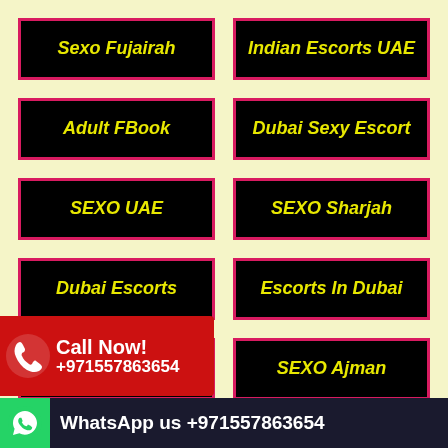Sexo Fujairah
Indian Escorts UAE
Adult FBook
Dubai Sexy Escort
SEXO UAE
SEXO Sharjah
Dubai Escorts
Escorts In Dubai
Dubai
SEXO Ajman
SEXO Gulf
Call Now! +971557863654
WhatsApp us +971557863654